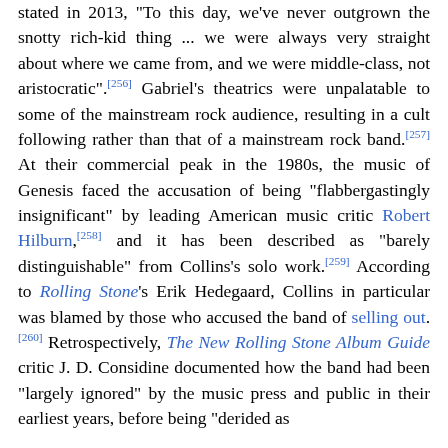stated in 2013, "To this day, we've never outgrown the snotty rich-kid thing ... we were always very straight about where we came from, and we were middle-class, not aristocratic".[256] Gabriel's theatrics were unpalatable to some of the mainstream rock audience, resulting in a cult following rather than that of a mainstream rock band.[257] At their commercial peak in the 1980s, the music of Genesis faced the accusation of being "flabbergastingly insignificant" by leading American music critic Robert Hilburn,[258] and it has been described as "barely distinguishable" from Collins's solo work.[259] According to Rolling Stone's Erik Hedegaard, Collins in particular was blamed by those who accused the band of selling out.[260] Retrospectively, The New Rolling Stone Album Guide critic J. D. Considine documented how the band had been "largely ignored" by the music press and public in their earliest years, before being "derided as...